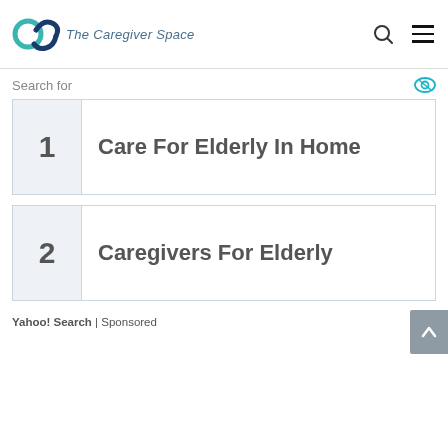The Caregiver Space
Search for
1  Care For Elderly In Home
2  Caregivers For Elderly
Yahoo! Search | Sponsored